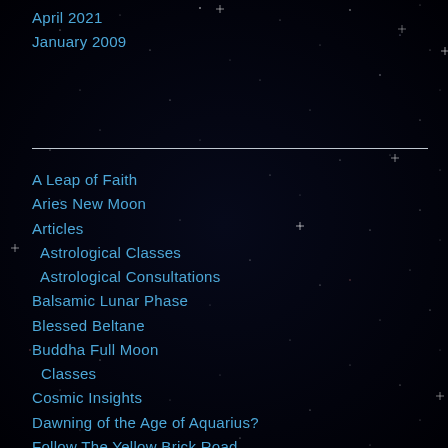April 2021
January 2009
A Leap of Faith
Aries New Moon
Articles
Astrological Classes
Astrological Consultations
Balsamic Lunar Phase
Blessed Beltane
Buddha Full Moon
Classes
Cosmic Insights
Dawning of the Age of Aquarius?
Follow The Yellow Brick Road
Full Moon/Lunar Eclipse Illumination
Illumination of Gratitude
Life Changes Upon the Horizon
Reviews